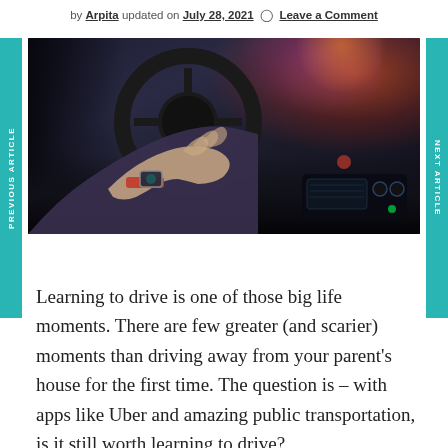by Arpita updated on July 28, 2021  Leave a Comment
[Figure (photo): Person's hand on a car steering wheel, with dashboard and bokeh city lights visible in background]
Learning to drive is one of those big life moments. There are few greater (and scarier) moments than driving away from your parent's house for the first time. The question is – with apps like Uber and amazing public transportation, is it still worth learning to drive?